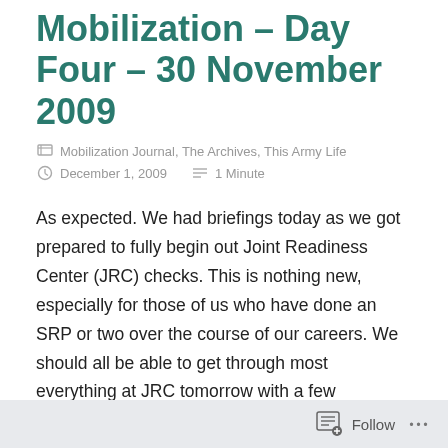Mobilization – Day Four – 30 November 2009
Mobilization Journal, The Archives, This Army Life
December 1, 2009   1 Minute
As expected. We had briefings today as we got prepared to fully begin out Joint Readiness Center (JRC) checks. This is nothing new, especially for those of us who have done an SRP or two over the course of our careers. We should all be able to get through most everything at JRC tomorrow with a few exceptions. It might also be the first chance we have of actually losing people off of this task force due to medical readiness. As much as some of
Follow ···